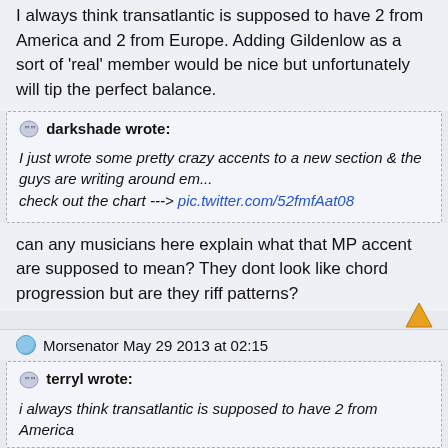I always think transatlantic is supposed to have 2 from America and 2 from Europe. Adding Gildenlow as a sort of 'real' member would be nice but unfortunately will tip the perfect balance.
darkshade wrote: I just wrote some pretty crazy accents to a new section & the guys are writing around em... check out the chart ---> pic.twitter.com/52fmfAat08
can any musicians here explain what that MP accent are supposed to mean? They dont look like chord progression but are they riff patterns?
Morsenator May 29 2013 at 02:15
terryl wrote:
i always think transatlantic is supposed to have 2 from America